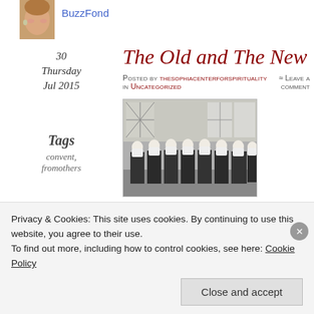[Figure (photo): Partial top of woman's face photo (avatar), cropped, showing forehead and earring]
BuzzFond
30
Thursday
Jul 2015
The Old and The New
Posted by thesophiacenterforspirituality in Uncategorized
≈ Leave a comment
Tags
convent,
fromothers
[Figure (photo): Black and white photograph of a group of nuns in traditional habits standing in a row in front of a building]
Privacy & Cookies: This site uses cookies. By continuing to use this website, you agree to their use.
To find out more, including how to control cookies, see here: Cookie Policy
Close and accept